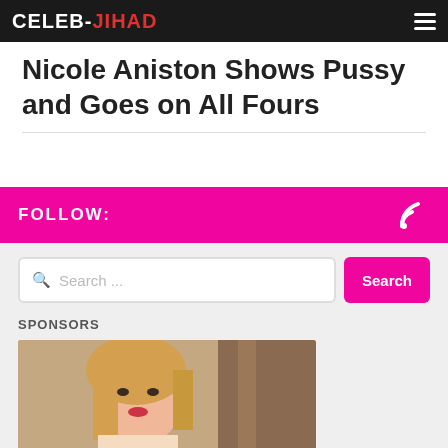CELEB-JIHAD
Nicole Aniston Shows Pussy and Goes on All Fours
FOLLOW:
Search ...
SPONSORS
[Figure (photo): Blonde woman photo used as sponsor advertisement image]